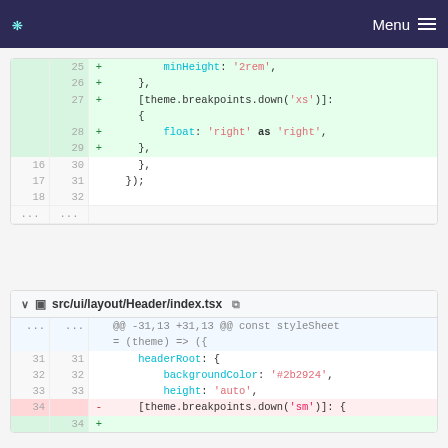Menu
[Figure (screenshot): Code diff panel showing lines 25-32 of a file with added lines (green background) for minHeight, breakpoints.down('xs'), float: 'right' as 'right', and closing brackets]
[Figure (screenshot): Code diff panel for src/ui/layout/Header/index.tsx showing lines 31-34 with headerRoot styles including backgroundColor: '#2b2924', height: 'auto', and a removed line with theme.breakpoints.down('sm')]